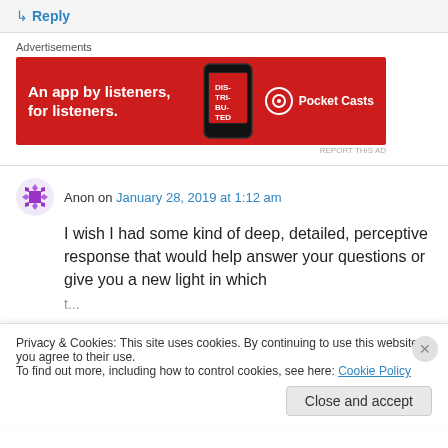↳ Reply
Advertisements
[Figure (illustration): Pocket Casts advertisement banner: red background with text 'An app by listeners, for listeners.' and Pocket Casts logo with phone image]
REPORT THIS AD
Anon on January 28, 2019 at 1:12 am
I wish I had some kind of deep, detailed, perceptive response that would help answer your questions or give you a new light in which
Privacy & Cookies: This site uses cookies. By continuing to use this website, you agree to their use.
To find out more, including how to control cookies, see here: Cookie Policy
Close and accept